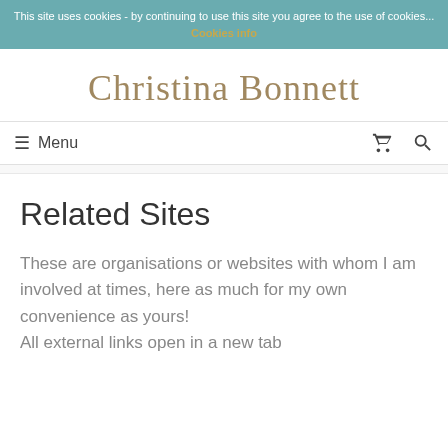This site uses cookies - by continuing to use this site you agree to the use of cookies... Cookies info
Christina Bonnett
≡ Menu
Related Sites
These are organisations or websites with whom I am involved at times, here as much for my own convenience as yours!
All external links open in a new tab